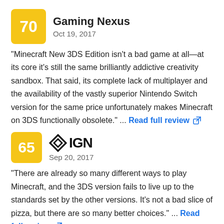[Figure (other): Gaming Nexus score box showing 70 in yellow/gold square with outlet name and date Oct 19, 2017]
"Minecraft New 3DS Edition isn't a bad game at all—at its core it's still the same brilliantly addictive creativity sandbox. That said, its complete lack of multiplayer and the availability of the vastly superior Nintendo Switch version for the same price unfortunately makes Minecraft on 3DS functionally obsolete." ... Read full review
[Figure (other): IGN score box showing 65 in yellow/gold square with IGN logo and date Sep 20, 2017]
"There are already so many different ways to play Minecraft, and the 3DS version fails to live up to the standards set by the other versions. It's not a bad slice of pizza, but there are so many better choices." ... Read full review
[Figure (other): Destructoid score box showing 60 in yellow/gold square with Destructoid logo]